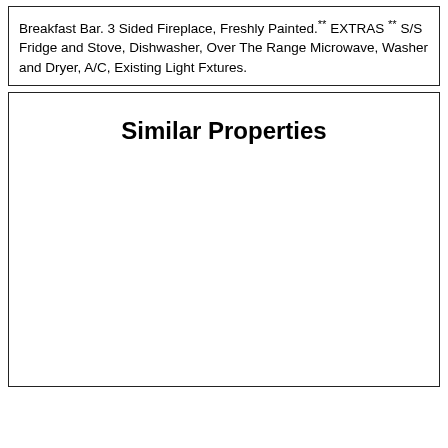Breakfast Bar. 3 Sided Fireplace, Freshly Painted.** EXTRAS ** S/S Fridge and Stove, Dishwasher, Over The Range Microwave, Washer and Dryer, A/C, Existing Light Fxtures.
Similar Properties